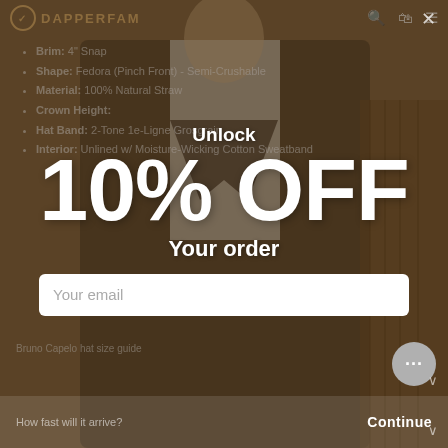[Figure (screenshot): E-commerce website screenshot for DapperFam with a promotional popup modal showing '10% OFF' discount offer overlaid on a man in a suit background image]
Brim: 4" Snap
Shape: Fedora (Pinch Front) - Semi-Crushable
Material: 100% Natural Straw
Crown Height:
Hat Band: 2-Tone 1e-Ligne Grosgrain
Interior: Unlined w/ Moisture-Wicking Cotton Sweatband
Unlock
10% OFF
Your order
Your email
Bruno Capelo hat size guide
How fast will it arrive?
Continue